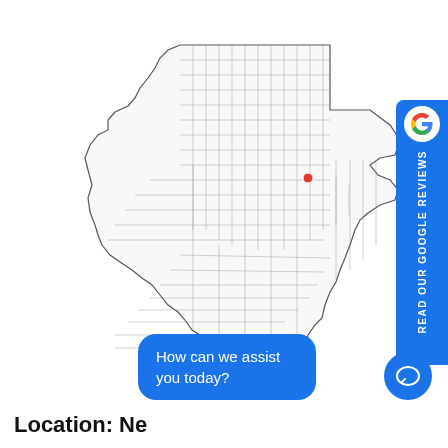[Figure (map): Map of Texas showing county boundaries with a red dot marker indicating a location in the Dallas/Fort Worth area (north-central Texas)]
READ OUR GOOGLE REVIEWS
How can we assist you today?
Location: Ne...